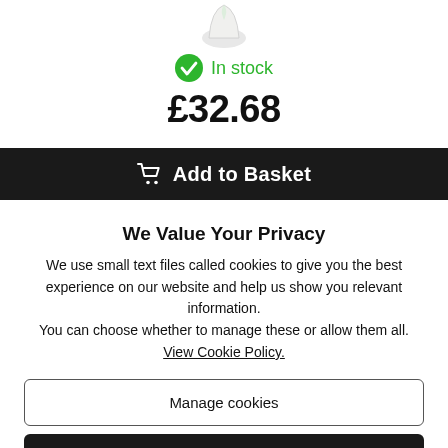[Figure (illustration): Partial product image at top of page, white/light colored item cropped at top edge]
In stock
£32.68
Add to Basket
We Value Your Privacy
We use small text files called cookies to give you the best experience on our website and help us show you relevant information.
You can choose whether to manage these or allow them all.
View Cookie Policy.
Manage cookies
Allow all